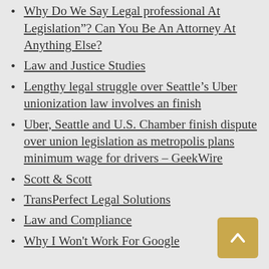professional And
Why Do We Say Legal professional At Legislation"? Can You Be An Attorney At Anything Else?
Law and Justice Studies
Lengthy legal struggle over Seattle's Uber unionization law involves an finish
Uber, Seattle and U.S. Chamber finish dispute over union legislation as metropolis plans minimum wage for drivers – GeekWire
Scott & Scott
TransPerfect Legal Solutions
Law and Compliance
Why I Won't Work For Google